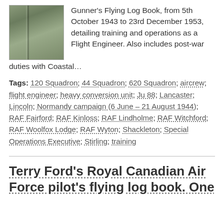[Figure (photo): Thumbnail photo of a dark green flying log book cover]
Gunner's Flying Log Book, from 5th October 1943 to 23rd December 1953, detailing training and operations as a Flight Engineer. Also includes post-war duties with Coastal…
Tags: 120 Squadron; 44 Squadron; 620 Squadron; aircrew; flight engineer; heavy conversion unit; Ju 88; Lancaster; Lincoln; Normandy campaign (6 June – 21 August 1944); RAF Fairford; RAF Kinloss; RAF Lindholme; RAF Witchford; RAF Woolfox Lodge; RAF Wyton; Shackleton; Special Operations Executive; Stirling; training
Terry Ford's Royal Canadian Air Force pilot's flying log book. One